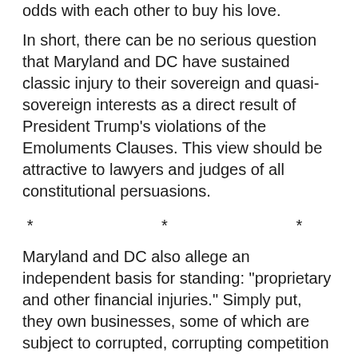odds with each other to buy his love.
In short, there can be no serious question that Maryland and DC have sustained classic injury to their sovereign and quasi-sovereign interests as a direct result of President Trump’s violations of the Emoluments Clauses.  This view should be attractive to lawyers and judges of all constitutional persuasions.
* * *
Maryland and DC also allege an independent basis for standing: “proprietary and other financial injuries.”  Simply put, they own businesses, some of which are subject to corrupted, corrupting competition against the President’s own properties, which have been turned by Trump into emolument vortexes (both foreign and domestic).
These claims do not allege competitive injury in